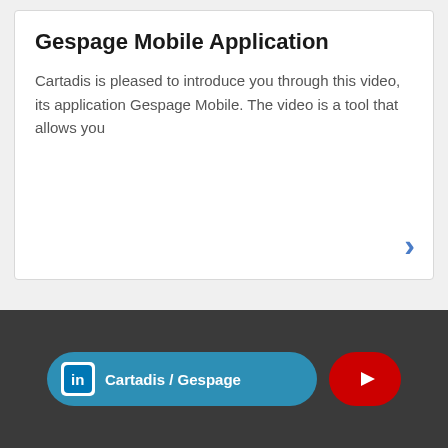Gespage Mobile Application
Cartadis is pleased to introduce you through this video, its application Gespage Mobile. The video is a tool that allows you
[Figure (illustration): Blue right-pointing chevron arrow (>) used as a navigation/read-more indicator]
LinkedIn: Cartadis / Gespage | YouTube button